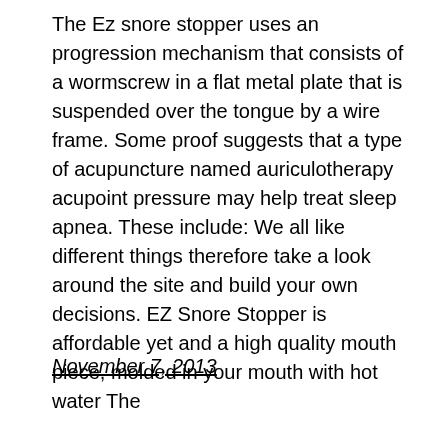The Ez snore stopper uses an progression mechanism that consists of a wormscrew in a flat metal plate that is suspended over the tongue by a wire frame. Some proof suggests that a type of acupuncture named auriculotherapy acupoint pressure may help treat sleep apnea. These include: We all like different things therefore take a look around the site and build your own decisions. EZ Snore Stopper is affordable yet and a high quality mouth piece, molded in your mouth with hot water The
November 7, 2013